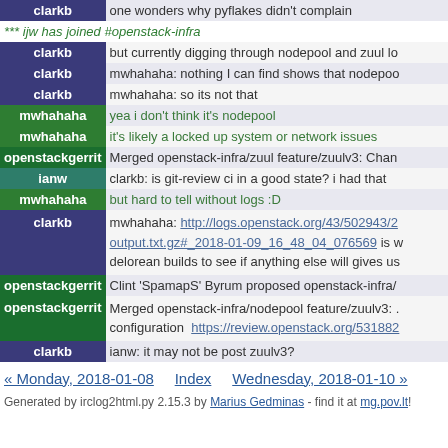| nick | message |
| --- | --- |
| clarkb | one wonders why pyflakes didn't complain |
| *** ijw has joined #openstack-infra |  |
| clarkb | but currently digging through nodepool and zuul lo |
| clarkb | mwhahaha: nothing I can find shows that nodepoo |
| clarkb | mwhahaha: so its not that |
| mwhahaha | yea i don't think it's nodepool |
| mwhahaha | it's likely a locked up system or network issues |
| openstackgerrit | Merged openstack-infra/zuul feature/zuulv3: Chan |
| ianw | clarkb: is git-review ci in a good state?  i had that |
| mwhahaha | but hard to tell without logs :D |
| clarkb | mwhahaha: http://logs.openstack.org/43/502943/2... output.txt.gz#_2018-01-09_16_48_04_076569 is w... delorean builds to see if anything else will gives us |
| openstackgerrit | Clint 'SpamapS' Byrum proposed openstack-infra/ |
| openstackgerrit | Merged openstack-infra/nodepool feature/zuulv3: ... configuration  https://review.openstack.org/531882 |
| clarkb | ianw: it may not be post zuulv3? |
« Monday, 2018-01-08   Index   Wednesday, 2018-01-10 »
Generated by irclog2html.py 2.15.3 by Marius Gedminas - find it at mg.pov.lt!